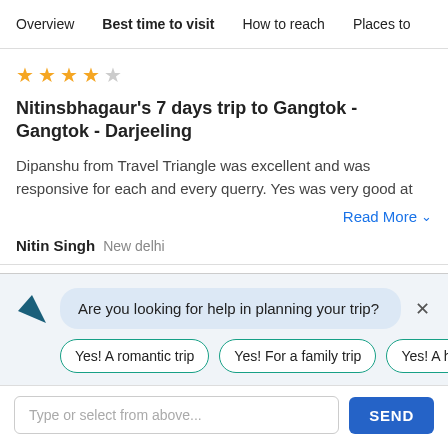Overview  Best time to visit  How to reach  Places to
Nitinsbhagaur's 7 days trip to Gangtok - Gangtok - Darjeeling
Dipanshu from Travel Triangle was excellent and was responsive for each and every querry. Yes was very good at
Read More
Nitin Singh  New delhi
Are you looking for help in planning your trip?
Yes! A romantic trip
Yes! For a family trip
Yes! A honey
Type or select from above...
SEND